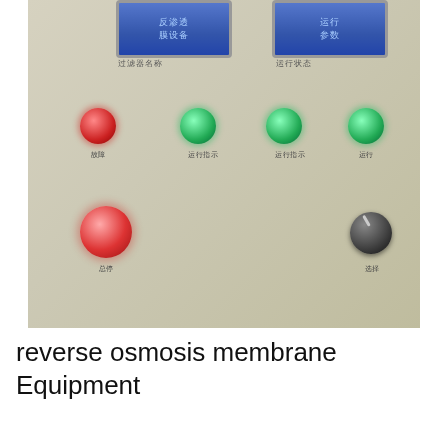[Figure (photo): Close-up photograph of an industrial control panel for reverse osmosis membrane equipment. The panel has a beige/silver metallic surface. At the top are two blue digital display screens with Chinese text labels beneath them. Below are four round indicator lights in a row: one red on the left and three green to its right, each with small Chinese text labels underneath. On the lower section there is a large red emergency stop button on the left, and a black rotary knob/selector switch on the right, both with Chinese text labels beneath them.]
reverse osmosis membrane Equipment